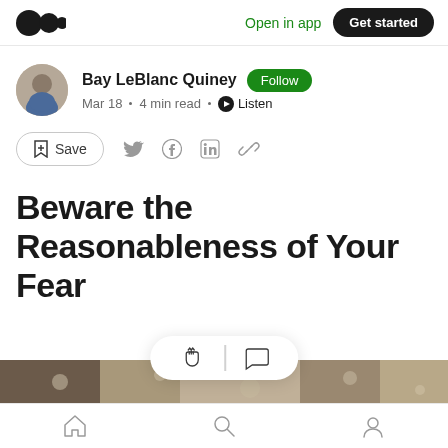Open in app | Get started
Bay LeBlanc Quiney · Follow · Mar 18 · 4 min read · Listen
Save
Beware the Reasonableness of Your Fear